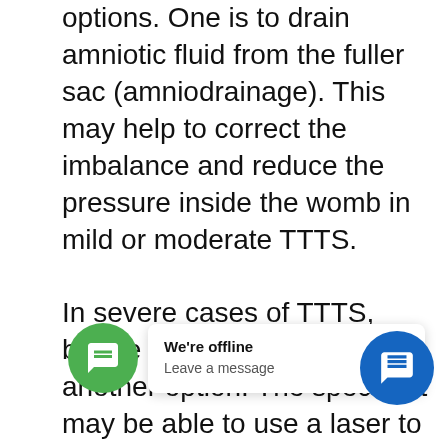options. One is to drain amniotic fluid from the fuller sac (amniodrainage). This may help to correct the imbalance and reduce the pressure inside the womb in mild or moderate TTTS.
In severe cases of TTTS, before 26 weeks, there is another option. The specialist may be able to use a laser to close the vessels in the placenta. A laser beam is used to destroy the abnormal vascular connections connecting the two twins. It is performed by a Fetal Medicine specialist under anaesthesia. The procedure takes about 30 to 60 minutes. A tiny telescope is inserted into the amniotic cavity through a [small] incision. T... abnormal vessels viewed are then closed using